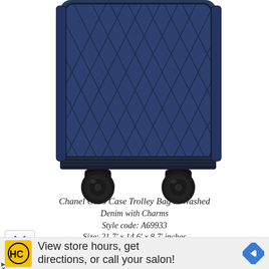[Figure (photo): Bottom portion of a Chanel Coco Case Trolley Bag in washed denim with diamond quilted pattern and four black spinner wheels]
Chanel Coco Case Trolley Bag in Washed Denim with Charms
Style code: A69933
Size: 21.7' x 14.6' x 8.7' inches
[Figure (screenshot): Advertisement banner: HC logo on yellow background, text 'View store hours, get directions, or call your salon!' with blue navigation icon]